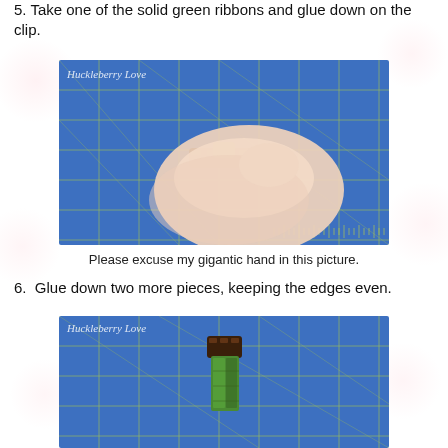5. Take one of the solid green ribbons and glue down on the clip.
[Figure (photo): A hand pressing a small green ribbon onto a dark hair clip on a blue cutting mat grid. Watermark reads 'Huckleberry Love'.]
Please excuse my gigantic hand in this picture.
6.  Glue down two more pieces, keeping the edges even.
[Figure (photo): A hair clip on a blue cutting mat with green ribbon pieces glued down, edges even. Watermark reads 'Huckleberry Love'.]